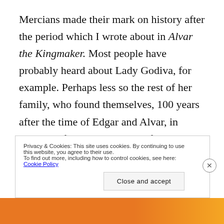Mercians made their mark on history after the period which I wrote about in Alvar the Kingmaker. Most people have probably heard about Lady Godiva, for example. Perhaps less so the rest of her family, who found themselves, 100 years after the time of Edgar and Alvar, in direct conflict with the powerful Godwin family. Godiva's son, Aelfgar, was twice driven into exile because of them, and Aelfgar's daughter was widowed when Harold Godwinson caused the death of her Welsh husband. When Aelfgar's sons, Edwin and
Privacy & Cookies: This site uses cookies. By continuing to use this website, you agree to their use.
To find out more, including how to control cookies, see here: Cookie Policy